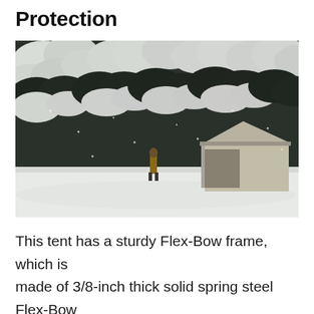Protection
[Figure (photo): A person standing in a snowy field next to a canvas tent with a Flex-Bow frame. Snow-covered evergreen trees fill the background. Heavy snowfall surrounds the scene.]
This tent has a sturdy Flex-Bow frame, which is made of 3/8-inch thick solid spring steel Flex-Bow